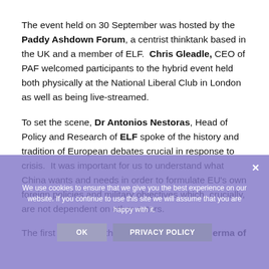The event held on 30 September was hosted by the Paddy Ashdown Forum, a centrist thinktank based in the UK and a member of ELF.  Chris Gleadle, CEO of PAF welcomed participants to the hybrid event held both physically at the National Liberal Club in London as well as being live-streamed.
To set the scene, Dr Antonios Nestoras, Head of Policy and Research of ELF spoke of the history and tradition of European debates crucial in response to crisis.  It was important for us to understand what China wants and needs in order to formulate EU's own foreign policies and military objectives which, crucially, are not dependent on other actors.
The first debater for the motion was Laia Comerma of LYMEC, joining the meeting virtually from Barcelona. She
We use cookies to ensure that we give you the best experience on our website. If you continue to use this site we will assume that you are happy with it.